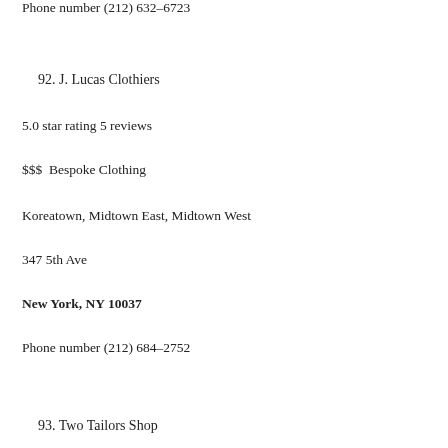Phone number (212) 632-6723
92. J. Lucas Clothiers
5.0 star rating 5 reviews
$$$  Bespoke Clothing
Koreatown, Midtown East, Midtown West
347 5th Ave
New York, NY 10037
Phone number (212) 684-2752
93. Two Tailors Shop